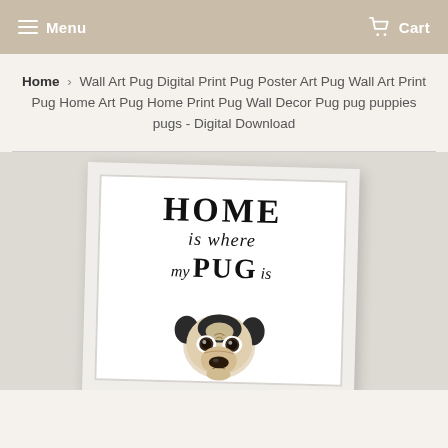Menu    Cart
Home › Wall Art Pug Digital Print Pug Poster Art Pug Wall Art Print Pug Home Art Pug Home Print Pug Wall Decor Pug pug puppies pugs - Digital Download
[Figure (photo): A framed poster print displayed on a wall showing the text HOME is where my PUG is with an illustration of a pug dog face below the text. The frame is white and the print background is white with black text and illustration.]